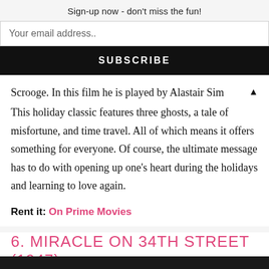Sign-up now - don't miss the fun!
Your email address..
SUBSCRIBE
Scrooge. In this film he is played by Alastair Sim ▲
This holiday classic features three ghosts, a tale of misfortune, and time travel. All of which means it offers something for everyone. Of course, the ultimate message has to do with opening up one's heart during the holidays and learning to love again.
Rent it: On Prime Movies
6. MIRACLE ON 34TH STREET (1947)